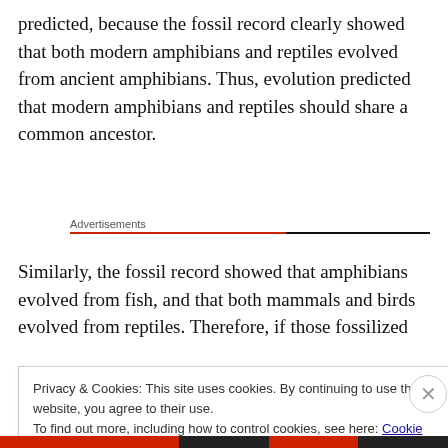predicted, because the fossil record clearly showed that both modern amphibians and reptiles evolved from ancient amphibians. Thus, evolution predicted that modern amphibians and reptiles should share a common ancestor.
Advertisements
Similarly, the fossil record showed that amphibians evolved from fish, and that both mammals and birds evolved from reptiles. Therefore, if those fossilized
Privacy & Cookies: This site uses cookies. By continuing to use this website, you agree to their use.
To find out more, including how to control cookies, see here: Cookie Policy
Close and accept